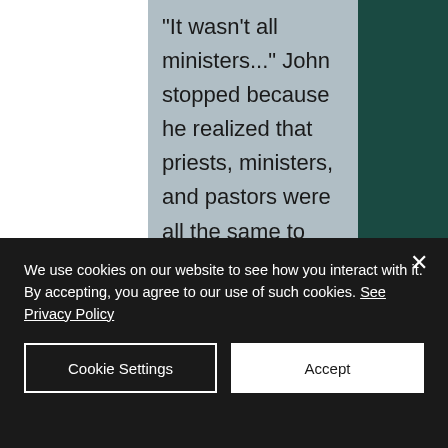"It wasn't all ministers..." John stopped because he realized that priests, ministers, and pastors were all the same to these boys and there was no reason to dive into all of that. "Many were like me, and many weren't. Some that weren't were still good people who would help anyone and some that were like me, well, just because they...
We use cookies on our website to see how you interact with it. By accepting, you agree to our use of such cookies. See Privacy Policy
Cookie Settings
Accept